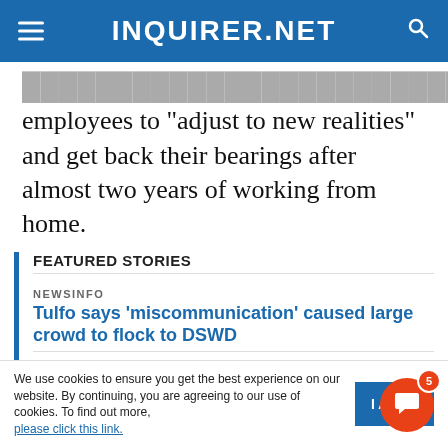INQUIRER.NET
employees to “adjust to new realities” and get back their bearings after almost two years of working from home.
FEATURED STORIES
NEWSINFO
Tulfo says ‘miscommunication’ caused large crowd to flock to DSWD
NEWSINFO
Brian Poe-Llamanzares receives his PhD in Public Administration
NEWSINFO
We use cookies to ensure you get the best experience on our website. By continuing, you are agreeing to our use of cookies. To find out more, please click this link.